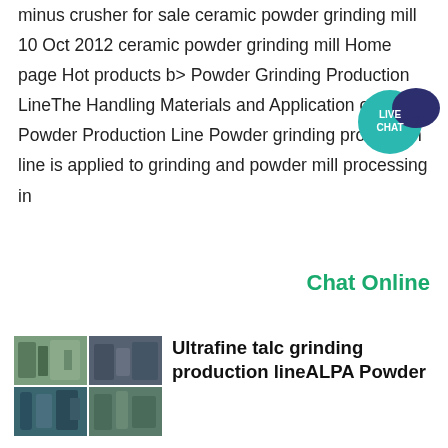minus crusher for sale ceramic powder grinding mill 10 Oct 2012 ceramic powder grinding mill Home page Hot products b> Powder Grinding Production LineThe Handling Materials and Application of Powder Production Line Powder grinding production line is applied to grinding and powder mill processing in
[Figure (other): Live Chat speech bubble badge with teal circle and dark blue speech bubble, text: LIVE CHAT]
Chat Online
[Figure (photo): Four-panel thumbnail image of industrial grinding/milling equipment and factory]
Ultrafine talc grinding production lineALPA Powder
Aug 19 2021  Superfine talcum powder is one of the most used ultrafine powder products in the world today It is widely used in